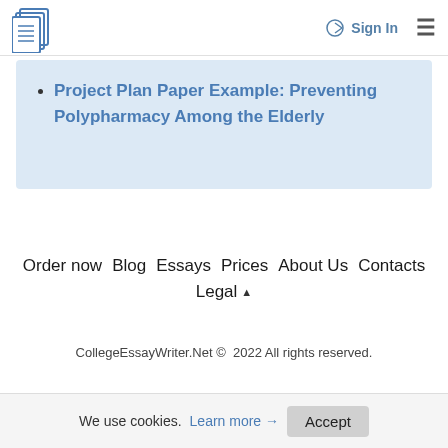Sign In
Project Plan Paper Example: Preventing Polypharmacy Among the Elderly
Order now  Blog  Essays  Prices  About Us  Contacts  Legal
CollegeEssayWriter.Net © 2022 All rights reserved.
We use cookies. Learn more → Accept